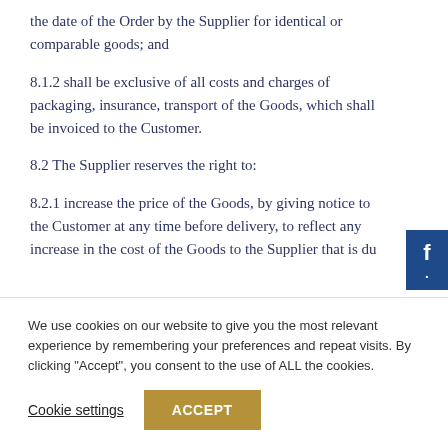the date of the Order by the Supplier for identical or comparable goods; and
8.1.2 shall be exclusive of all costs and charges of packaging, insurance, transport of the Goods, which shall be invoiced to the Customer.
8.2 The Supplier reserves the right to:
8.2.1 increase the price of the Goods, by giving notice to the Customer at any time before delivery, to reflect any increase in the cost of the Goods to the Supplier that is du
We use cookies on our website to give you the most relevant experience by remembering your preferences and repeat visits. By clicking “Accept”, you consent to the use of ALL the cookies.
Cookie settings
ACCEPT